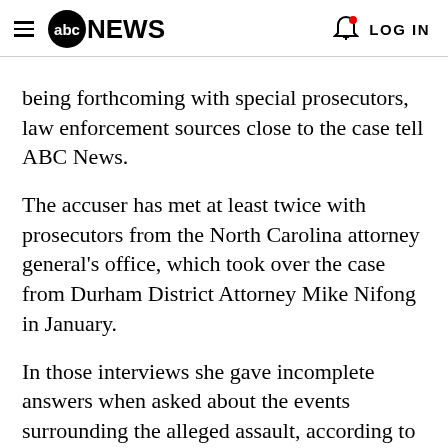abc NEWS  LOG IN
being forthcoming with special prosecutors, law enforcement sources close to the case tell ABC News.
The accuser has met at least twice with prosecutors from the North Carolina attorney general's office, which took over the case from Durham District Attorney Mike Nifong in January.
In those interviews she gave incomplete answers when asked about the events surrounding the alleged assault, according to